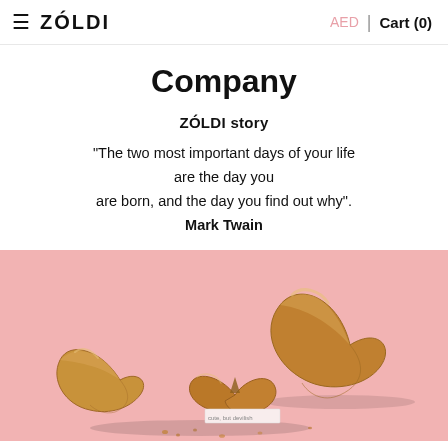≡ ZÓLDI  AED | Cart (0)
Company
ZÓLDI story
"The two most important days of your life are the day you are born, and the day you find out why". Mark Twain
[Figure (photo): Gold fortune cookies on a pink background, one broken open with a paper slip reading 'cute, but devilish']